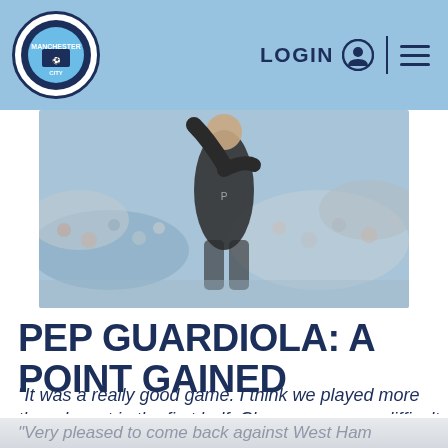Manchester City — LOGIN
[Figure (photo): Photo of a person in a dark Manchester City training top raising their arm, with a crowd in the background]
PEP GUARDIOLA: A POINT GAINED
"It was a really good game. I think we played more than decent in the first half. Chances were so difficult to attack them.
"Very pleased to come back against West Ham